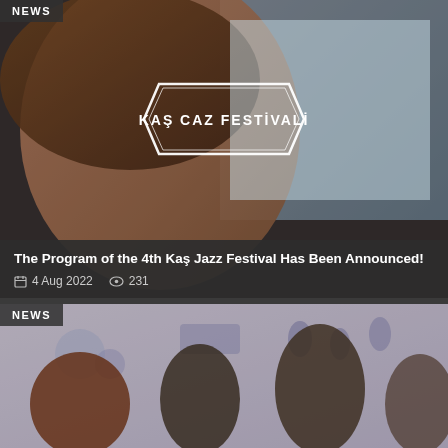[Figure (photo): Close-up portrait of a young woman looking upward, overlaid with the Kaş Caz Festivali (Kaş Jazz Festival) logo in a hexagon-like white outline shape]
NEWS
The Program of the 4th Kaş Jazz Festival Has Been Announced!
4 Aug 2022   231
[Figure (photo): Jazz musicians performing on stage: pianist at left, bassist in center, saxophone player and vocalist at right, against an illustrated mural background with cartoon musicians and animals in blue and white]
NEWS